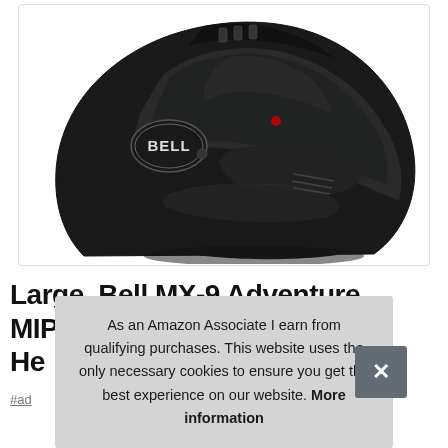[Figure (photo): Bell MX-9 Adventure MIPS motorcycle helmet in matte black, shown in profile view with visor down, featuring the Bell logo on the side.]
Large, Bell MX-9 Adventure MIPS He...
#ad
As an Amazon Associate I earn from qualifying purchases. This website uses the only necessary cookies to ensure you get the best experience on our website. More information